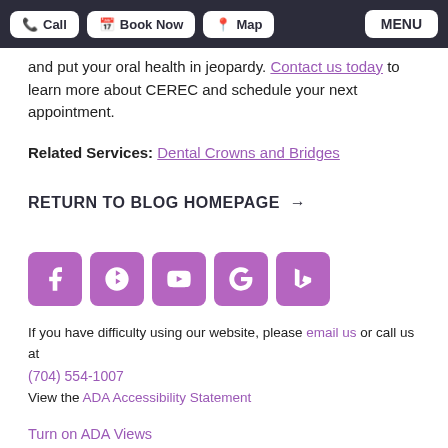Call | Book Now | Map | MENU
and put your oral health in jeopardy. Contact us today to learn more about CEREC and schedule your next appointment.
Related Services: Dental Crowns and Bridges
RETURN TO BLOG HOMEPAGE →
[Figure (other): Row of five purple square social media icons: Facebook, Yelp, YouTube, Google, Bing]
If you have difficulty using our website, please email us or call us at (704) 554-1007
View the ADA Accessibility Statement
Turn on ADA Views